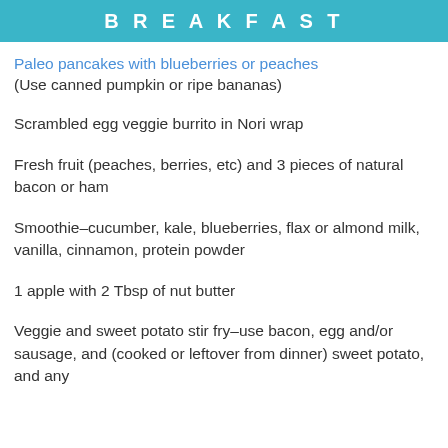BREAKFAST
Paleo pancakes with blueberries or peaches
(Use canned pumpkin or ripe bananas)
Scrambled egg veggie burrito in Nori wrap
Fresh fruit (peaches, berries, etc) and 3 pieces of natural bacon or ham
Smoothie–cucumber, kale, blueberries, flax or almond milk, vanilla, cinnamon, protein powder
1 apple with 2 Tbsp of nut butter
Veggie and sweet potato stir fry–use bacon, egg and/or sausage, and (cooked or leftover from dinner) sweet potato, and any